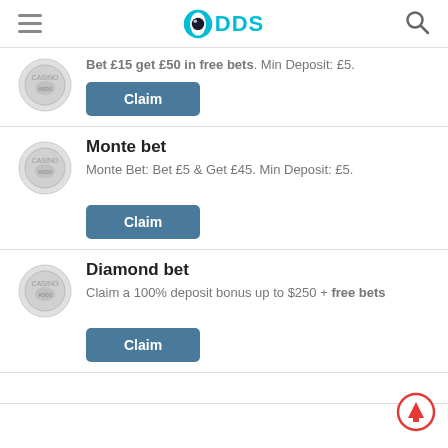[Figure (screenshot): ODDS website header with hamburger menu, ODDS logo (soccer ball eye icon with teal DDS text), and search icon]
Bet £15 get £50 in free bets. Min Deposit: £5.
Claim
Monte bet
Monte Bet: Bet £5 & Get £45. Min Deposit: £5.
Claim
Diamond bet
Claim a 100% deposit bonus up to $250 + free bets
Claim